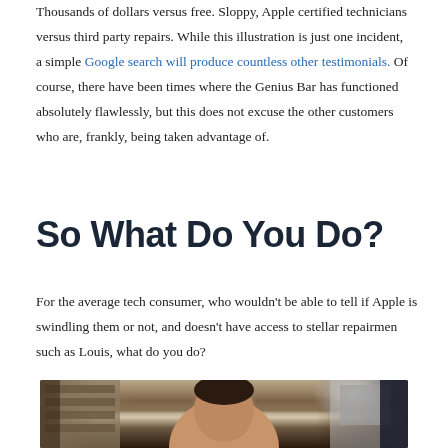Thousands of dollars versus free. Sloppy, Apple certified technicians versus third party repairs. While this illustration is just one incident, a simple Google search will produce countless other testimonials. Of course, there have been times where the Genius Bar has functioned absolutely flawlessly, but this does not excuse the other customers who are, frankly, being taken advantage of.
So What Do You Do?
For the average tech consumer, who wouldn't be able to tell if Apple is swindling them or not, and doesn't have access to stellar repairmen such as Louis, what do you do?
[Figure (photo): Photo of a man (Louis) in a repair shop, with shelving units and equipment visible in the background]